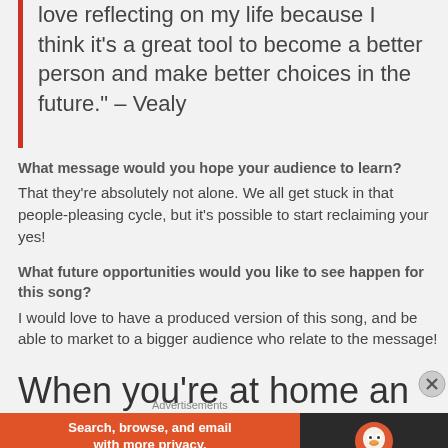love reflecting on my life because I think it’s a great tool to become a better person and make better choices in the future.” – Vealy
What message would you hope your audience to learn? That they’re absolutely not alone. We all get stuck in that people-pleasing cycle, but it’s possible to start reclaiming your yes!
What future opportunities would you like to see happen for this song? I would love to have a produced version of this song, and be able to market to a bigger audience who relate to the message!
When you’re at home and need
Advertisements
[Figure (other): DuckDuckGo advertisement banner: Search, browse, and email with more privacy. All in One Free App. DuckDuckGo logo on dark background.]